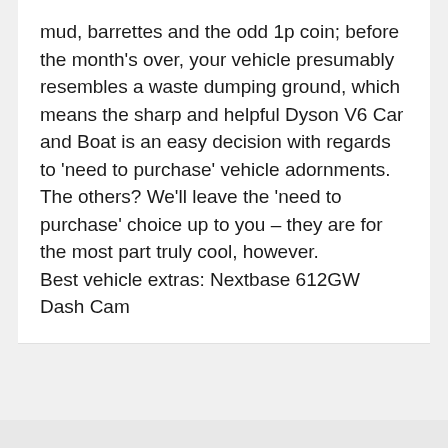mud, barrettes and the odd 1p coin; before the month's over, your vehicle presumably resembles a waste dumping ground, which means the sharp and helpful Dyson V6 Car and Boat is an easy decision with regards to 'need to purchase' vehicle adornments.
The others? We'll leave the 'need to purchase' choice up to you – they are for the most part truly cool, however.
Best vehicle extras: Nextbase 612GW Dash Cam